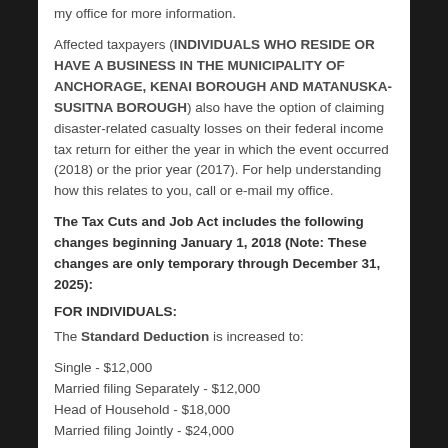my office for more information.
Affected taxpayers (INDIVIDUALS WHO RESIDE OR HAVE A BUSINESS IN THE MUNICIPALITY OF ANCHORAGE, KENAI BOROUGH AND MATANUSKA-SUSITNA BOROUGH) also have the option of claiming disaster-related casualty losses on their federal income tax return for either the year in which the event occurred (2018) or the prior year (2017). For help understanding how this relates to you, call or e-mail my office.
The Tax Cuts and Job Act includes the following changes beginning January 1, 2018 (Note: These changes are only temporary through December 31, 2025):
FOR INDIVIDUALS:
The Standard Deduction is increased to:
Single - $12,000
Married filing Separately - $12,000
Head of Household - $18,000
Married filing Jointly - $24,000
The Personal Exemption has been replaced by an